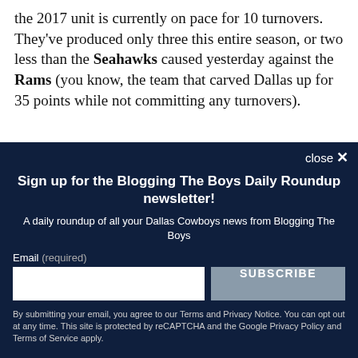the 2017 unit is currently on pace for 10 turnovers. They've produced only three this entire season, or two less than the Seahawks caused yesterday against the Rams (you know, the team that carved Dallas up for 35 points while not committing any turnovers).
A drop that from here will...
[Figure (other): Modal newsletter signup overlay with dark navy background. Contains close button (close X), title 'Sign up for the Blogging The Boys Daily Roundup newsletter!', description text, email input field, SUBSCRIBE button, and fine print about terms.]